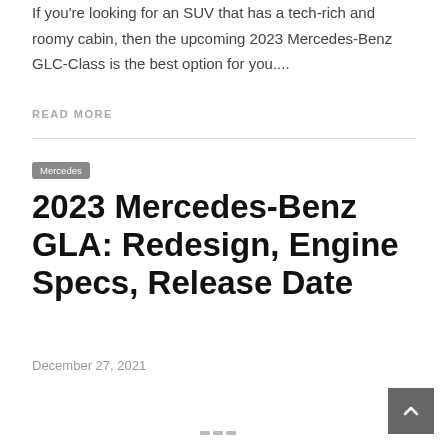If you're looking for an SUV that has a tech-rich and roomy cabin, then the upcoming 2023 Mercedes-Benz GLC-Class is the best option for you....
READ MORE
Mercedes
2023 Mercedes-Benz GLA: Redesign, Engine Specs, Release Date
December 27, 2021